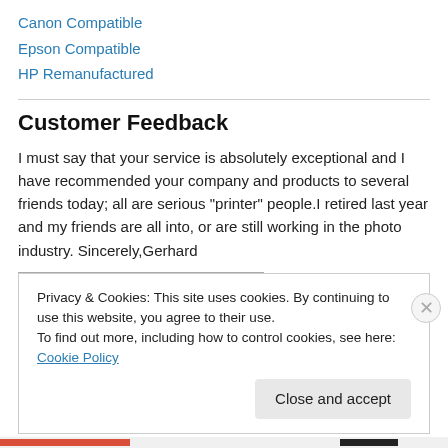Canon Compatible
Epson Compatible
HP Remanufactured
Customer Feedback
I must say that your service is absolutely exceptional and I have recommended your company and products to several friends today; all are serious "printer" people.I retired last year and my friends are all into, or are still working in the photo industry. Sincerely,Gerhard
Privacy & Cookies: This site uses cookies. By continuing to use this website, you agree to their use.
To find out more, including how to control cookies, see here: Cookie Policy
Close and accept